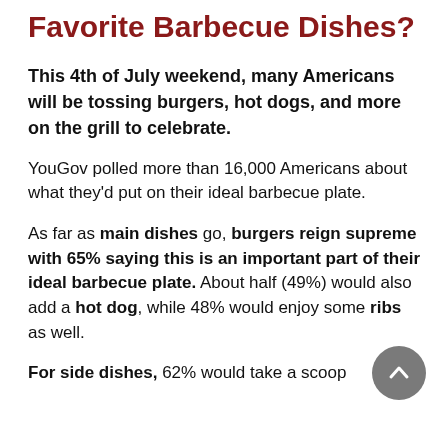What Are America's Favorite Barbecue Dishes?
This 4th of July weekend, many Americans will be tossing burgers, hot dogs, and more on the grill to celebrate.
YouGov polled more than 16,000 Americans about what they'd put on their ideal barbecue plate.
As far as main dishes go, burgers reign supreme with 65% saying this is an important part of their ideal barbecue plate. About half (49%) would also add a hot dog, while 48% would enjoy some ribs as well.
For side dishes, 62% would take a scoop